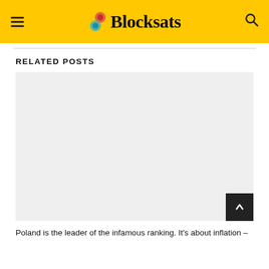Blocksats
RELATED POSTS
[Figure (photo): Light grey placeholder image for a related post thumbnail]
Poland is the leader of the infamous ranking. It’s about inflation –